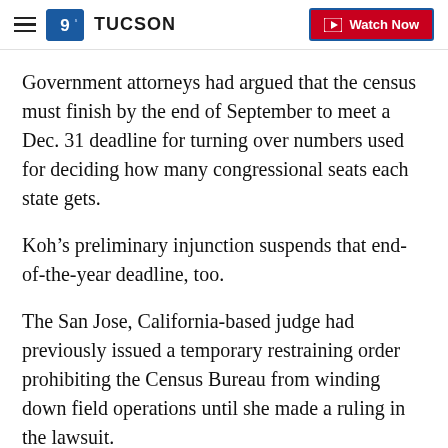9 TUCSON | Watch Now
Government attorneys had argued that the census must finish by the end of September to meet a Dec. 31 deadline for turning over numbers used for deciding how many congressional seats each state gets.
Koh’s preliminary injunction suspends that end-of-the-year deadline, too.
The San Jose, California-based judge had previously issued a temporary restraining order prohibiting the Census Bureau from winding down field operations until she made a ruling in the lawsuit.
Copyright 2020 Scripps Media, Inc. All rights reserved. This material may not be published, broadcast, rewritten, or redistributed.